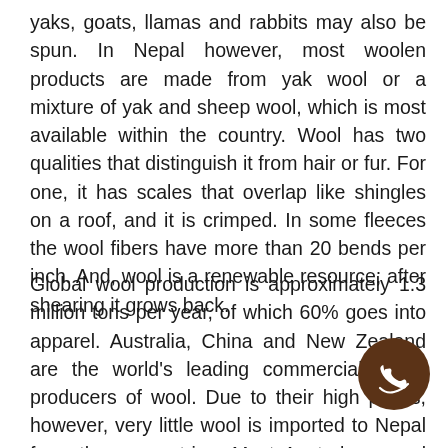yaks, goats, llamas and rabbits may also be spun. In Nepal however, most woolen products are made from yak wool or a mixture of yak and sheep wool, which is most available within the country. Wool has two qualities that distinguish it from hair or fur. For one, it has scales that overlap like shingles on a roof, and it is crimped. In some fleeces the wool fibers have more than 20 bends per inch. And, wool is a renewable resource; after shearing it grows back.
Global wool production is approximately 1.3 million tons per year, of which 60% goes into apparel. Australia, China and New Zealand are the world's leading commercial grade producers of wool. Due to their high prices, however, very little wool is imported to Nepal from these countries. Most Australian wool comes from the Merino breed. Breeds such as Lincoln and Romney produce coarser fibers and wool
[Figure (logo): WhatsApp logo icon — dark brown circle with white phone handset silhouette and wave detail]